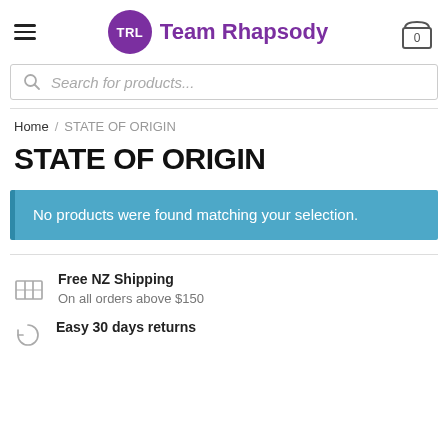TRL Team Rhapsody — navigation header with hamburger menu, logo, and cart icon showing 0
Search for products...
Home / STATE OF ORIGIN
STATE OF ORIGIN
No products were found matching your selection.
Free NZ Shipping
On all orders above $150
Easy 30 days returns